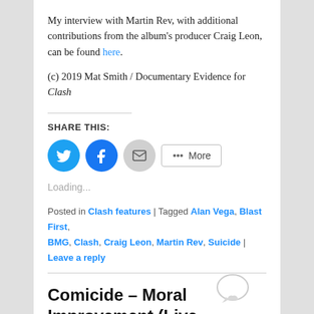My interview with Martin Rev, with additional contributions from the album's producer Craig Leon, can be found here.
(c) 2019 Mat Smith / Documentary Evidence for Clash
SHARE THIS:
[Figure (infographic): Social share buttons: Twitter (blue circle), Facebook (blue circle), Email (grey circle), More button]
Loading...
Posted in Clash features | Tagged Alan Vega, Blast First, BMG, Clash, Craig Leon, Martin Rev, Suicide | Leave a reply
Comicide – Moral Improvement (Live